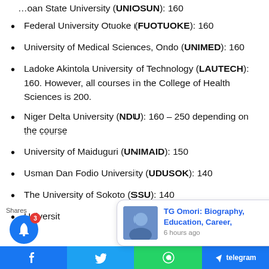Federal University Otuoke (FUOTUOKE): 160
University of Medical Sciences, Ondo (UNIMED): 160
Ladoke Akintola University of Technology (LAUTECH): 160. However, all courses in the College of Health Sciences is 200.
Niger Delta University (NDU): 160 – 250 depending on the course
University of Maiduguri (UNIMAID): 150
Usman Dan Fodio University (UDUSOK): 140
The University of Sokoto (SSU): 140
Universit…